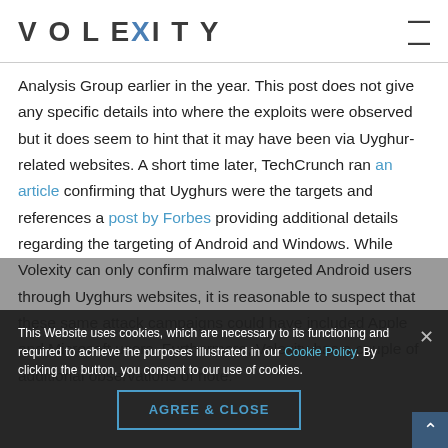VOLEXITY
Analysis Group earlier in the year. This post does not give any specific details into where the exploits were observed but it does seem to hint that it may have been via Uyghur-related websites. A short time later, TechCrunch ran an article confirming that Uyghurs were the targets and references a post by Forbes providing additional details regarding the targeting of Android and Windows. While Volexity can only confirm malware targeted Android users through Uyghurs websites, it is reasonable to suspect that these same attack campaigns could have included Apple and Microsoft users. Furthermore, Volexity has a couple of additional observations of note.
This Website uses cookies, which are necessary to its functioning and required to achieve the purposes illustrated in our Cookie Policy. By clicking the button, you consent to our use of cookies.
AGREE & CLOSE